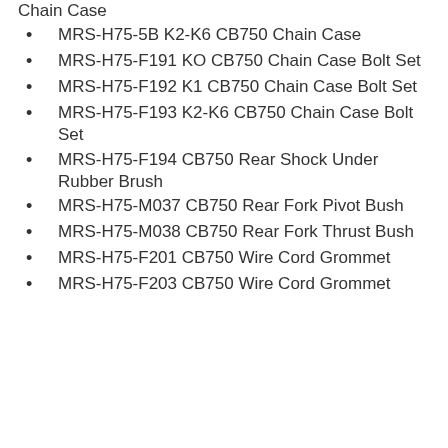Chain Case
MRS-H75-5B K2-K6 CB750 Chain Case
MRS-H75-F191 KO CB750 Chain Case Bolt Set
MRS-H75-F192 K1 CB750 Chain Case Bolt Set
MRS-H75-F193 K2-K6 CB750 Chain Case Bolt Set
MRS-H75-F194 CB750 Rear Shock Under Rubber Brush
MRS-H75-M037 CB750 Rear Fork Pivot Bush
MRS-H75-M038 CB750 Rear Fork Thrust Bush
MRS-H75-F201 CB750 Wire Cord Grommet
MRS-H75-F203 CB750 Wire Cord Grommet